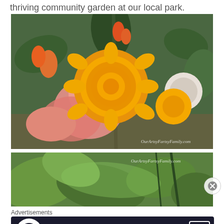thriving community garden at our local park.
[Figure (photo): Close-up photo of bright orange and yellow marigold/calendula flowers with pink gladiolus blooms in background, taken at a community garden. Watermark: OurArtsyFartsyFamily.com]
[Figure (photo): Partial photo of lush green garden foliage, partially cropped. Watermark: OurArtsyFartsyFamily.com]
Advertisements
[Figure (infographic): Advertisement banner: dark background with tree/bonsai icon, green text 'Turn your blog into a money-making online course.' with white arrow button.]